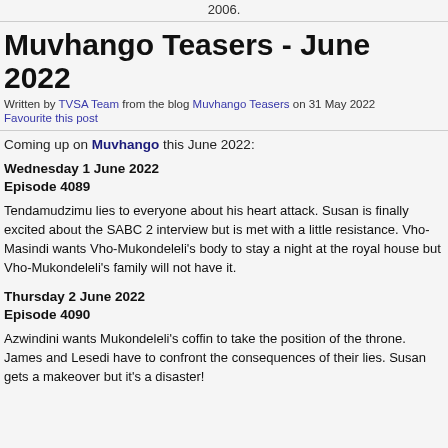2006.
Muvhango Teasers - June 2022
Written by TVSA Team from the blog Muvhango Teasers on 31 May 2022
Favourite this post
Coming up on Muvhango this June 2022:
Wednesday 1 June 2022
Episode 4089
Tendamudzimu lies to everyone about his heart attack. Susan is finally excited about the SABC 2 interview but is met with a little resistance. Vho-Masindi wants Vho-Mukondeleli's body to stay a night at the royal house but Vho-Mukondeleli's family will not have it.
Thursday 2 June 2022
Episode 4090
Azwindini wants Mukondeleli's coffin to take the position of the throne. James and Lesedi have to confront the consequences of their lies. Susan gets a makeover but it's a disaster!